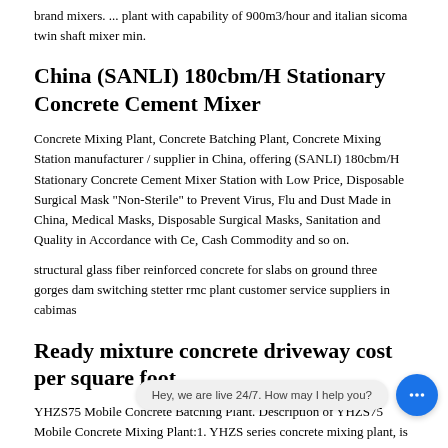brand mixers. ... plant with capability of 900m3/hour and italian sicoma twin shaft mixer min.
China (SANLI) 180cbm/H Stationary Concrete Cement Mixer
Concrete Mixing Plant, Concrete Batching Plant, Concrete Mixing Station manufacturer / supplier in China, offering (SANLI) 180cbm/H Stationary Concrete Cement Mixer Station with Low Price, Disposable Surgical Mask "Non-Sterile" to Prevent Virus, Flu and Dust Made in China, Medical Masks, Disposable Surgical Masks, Sanitation and Quality in Accordance with Ce, Cash Commodity and so on.
structural glass fiber reinforced concrete for slabs on ground three gorges dam switching stetter rmc plant customer service suppliers in cabimas
Ready mixture concrete driveway cost per square foot
YHZS75 Mobile Concrete Batching Plant. Description of YHZS75 Mobile Concrete Mixing Plant:1. YHZS series concrete mixing plant, is